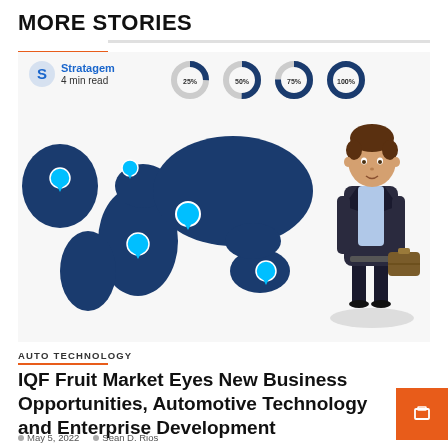MORE STORIES
[Figure (infographic): Stratagem branded world map infographic with donut charts showing 25%, 50%, 75%, 100% and location pins across continents. Includes an illustrated business person character on the right.]
AUTO TECHNOLOGY
IQF Fruit Market Eyes New Business Opportunities, Automotive Technology and Enterprise Development
May 5, 2022   Sean D. Rios